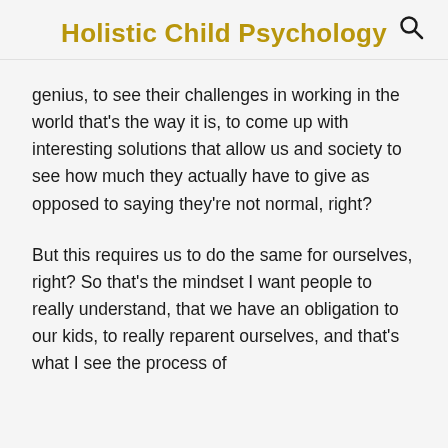Holistic Child Psychology
genius, to see their challenges in working in the world that’s the way it is, to come up with interesting solutions that allow us and society to see how much they actually have to give as opposed to saying they’re not normal, right?
But this requires us to do the same for ourselves, right? So that’s the mindset I want people to really understand, that we have an obligation to our kids, to really reparent ourselves, and that’s what I see the process of